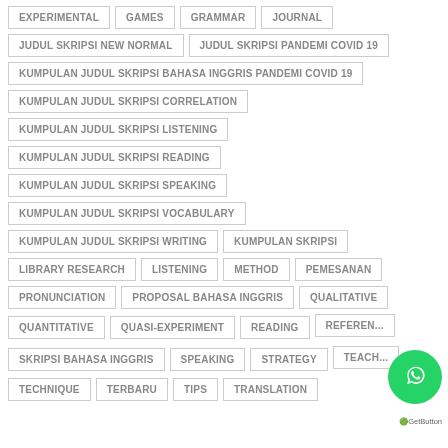EXPERIMENTAL
GAMES
GRAMMAR
JOURNAL
JUDUL SKRIPSI NEW NORMAL
JUDUL SKRIPSI PANDEMI COVID 19
KUMPULAN JUDUL SKRIPSI BAHASA INGGRIS PANDEMI COVID 19
KUMPULAN JUDUL SKRIPSI CORRELATION
KUMPULAN JUDUL SKRIPSI LISTENING
KUMPULAN JUDUL SKRIPSI READING
KUMPULAN JUDUL SKRIPSI SPEAKING
KUMPULAN JUDUL SKRIPSI VOCABULARY
KUMPULAN JUDUL SKRIPSI WRITING
KUMPULAN SKRIPSI
LIBRARY RESEARCH
LISTENING
METHOD
PEMESANAN
PRONUNCIATION
PROPOSAL BAHASA INGGRIS
QUALITATIVE
QUANTITATIVE
QUASI-EXPERIMENT
READING
REFERENSI
SKRIPSI BAHASA INGGRIS
SPEAKING
STRATEGY
TEACHING
TECHNIQUE
TERBARU
TIPS
TRANSLATION